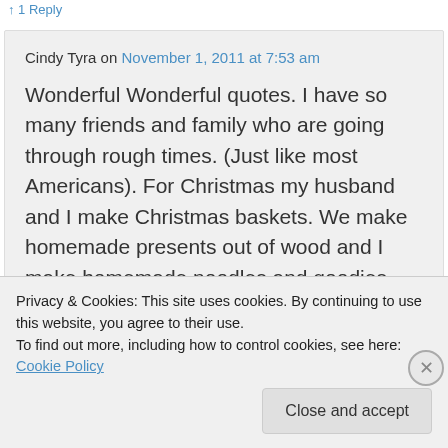1 Reply
Cindy Tyra on November 1, 2011 at 7:53 am
Wonderful Wonderful quotes. I have so many friends and family who are going through rough times. (Just like most Americans). For Christmas my husband and I make Christmas baskets. We make homemade presents out of wood and I make homemade noodles and goodies
Privacy & Cookies: This site uses cookies. By continuing to use this website, you agree to their use.
To find out more, including how to control cookies, see here: Cookie Policy
Close and accept